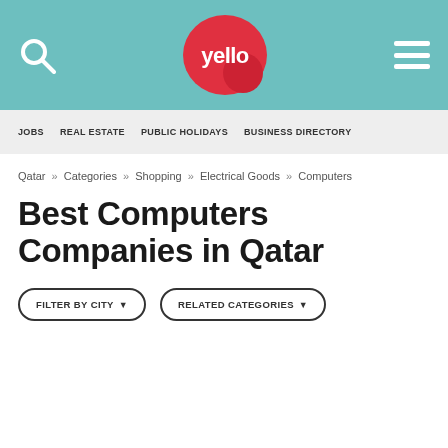yello
JOBS  REAL ESTATE  PUBLIC HOLIDAYS  BUSINESS DIRECTORY
Qatar » Categories » Shopping » Electrical Goods » Computers
Best Computers Companies in Qatar
FILTER BY CITY ▾   RELATED CATEGORIES ▾